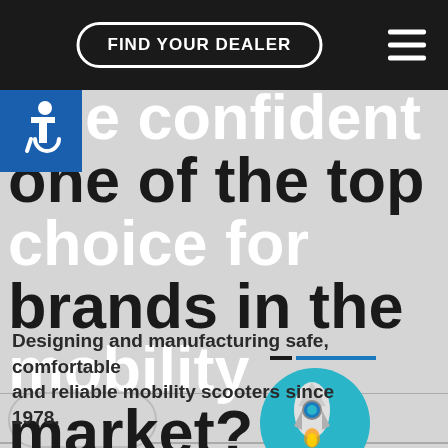FIND YOUR DEALER
The confident one of the top choice for brands in the mobility market?
Designing and manufacturing safe, comfortable and reliable mobility scooters since 1978.
[Figure (illustration): Rocket ship icon with teal circular background at bottom center]
[Figure (illustration): Wheelchair accessibility icon, white on blue square background]